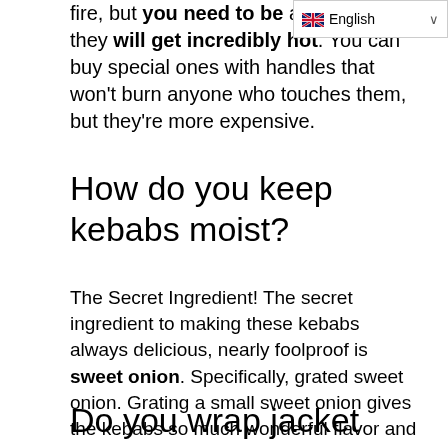fire, but you need to be aware that they will get incredibly hot. You can buy special ones with handles that won't burn anyone who touches them, but they're more expensive.
How do you keep kebabs moist?
The Secret Ingredient! The secret ingredient to making these kebabs always delicious, nearly foolproof is sweet onion. Specifically, grated sweet onion. Grating a small sweet onion gives the kebabs so much wonderful flavor and keep the meat very moist.
Do you wrap jacket potatoes